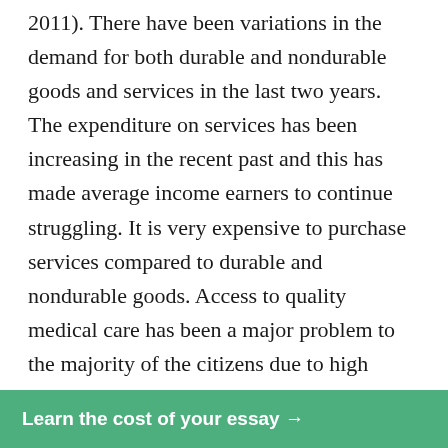2011). There have been variations in the demand for both durable and nondurable goods and services in the last two years. The expenditure on services has been increasing in the recent past and this has made average income earners to continue struggling. It is very expensive to purchase services compared to durable and nondurable goods. Access to quality medical care has been a major problem to the majority of the citizens due to high medical insurance premiums. The government is sponsoring a bill that will subsidize medical expenses for average citizens. The government is also working towards raising insurance premiums for high income earners and lowering medical insurance for low income earners (Clark, 2011). Although the health bill is still facing a lot of opposition, it implementation will ensure that all citizens to access an economy can
Learn the cost of your essay →